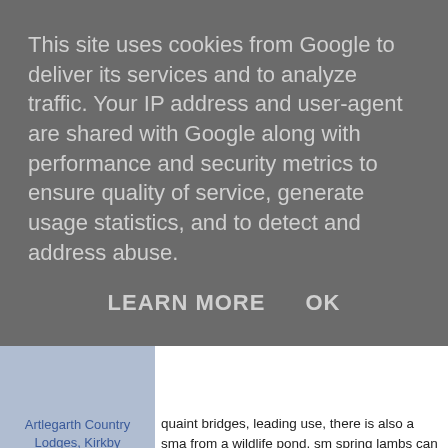This site uses cookies from Google to deliver its services and to analyze traffic. Your IP address and user-agent are shared with Google along with performance and security metrics to ensure quality of service, generate usage statistics, and to detect and address abuse.
LEARN MORE   OK
Artlegarth Country Lodges, Kirkby Stephen, Cumbria...
Dalendrien, Treslaig, Fort William, Inverness-shir...
Tanylan Farm, Kidwelly, Carmarthenshire (Sleeps 1-16)
Dorset Beach House, West Bay, Dorset (Sleeps 1-20)
Huntingball Lodge, Blue Anchor, Dunster, Somerset,...
Valley View Lakes and Lodges, Bideford, Devon
quaint bridges, leading use, there is also a sma from a wildlife pond, sm spring lambs can be se You are sure to spot the on the site during your
Our holiday homes are perfect base for explori from the private groun time relaxing, enjoying short stroll to the local p wines. For guests of a m on the doorstep; scenic